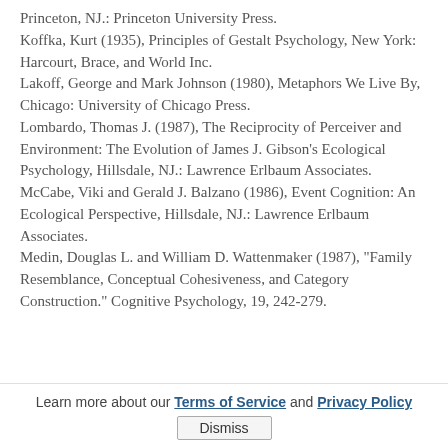Princeton, NJ.: Princeton University Press.
Koffka, Kurt (1935), Principles of Gestalt Psychology, New York: Harcourt, Brace, and World Inc.
Lakoff, George and Mark Johnson (1980), Metaphors We Live By, Chicago: University of Chicago Press.
Lombardo, Thomas J. (1987), The Reciprocity of Perceiver and Environment: The Evolution of James J. Gibson's Ecological Psychology, Hillsdale, NJ.: Lawrence Erlbaum Associates.
McCabe, Viki and Gerald J. Balzano (1986), Event Cognition: An Ecological Perspective, Hillsdale, NJ.: Lawrence Erlbaum Associates.
Medin, Douglas L. and William D. Wattenmaker (1987), "Family Resemblance, Conceptual Cohesiveness, and Category Construction." Cognitive Psychology, 19, 242-279.
Learn more about our Terms of Service and Privacy Policy  Dismiss